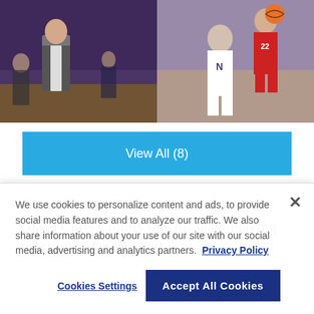[Figure (photo): Two sports photos side by side: left shows a Northwestern basketball coach (Chris Collins) on the sideline, right shows a basketball game action shot with players in Northwestern purple and opponent red uniforms]
View All (8)
EVANSTON, Ill. (AP) — Northwestern coach Chris Collins saw his team playing music and dancing and
We use cookies to personalize content and ads, to provide social media features and to analyze our traffic. We also share information about your use of our site with our social media, advertising and analytics partners. Privacy Policy
Cookies Settings
Accept All Cookies